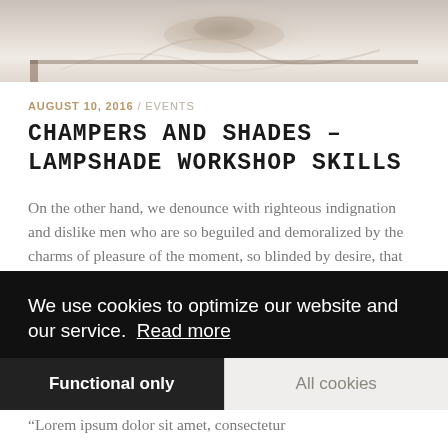[Figure (photo): Close-up photo of pottery or ceramic work on a wheel, showing swirling cream and beige tones]
AUGUST 10, 2016 / EVENTS
CHAMPERS AND SHADES – LAMPSHADE WORKSHOP SKILLS
On the other hand, we denounce with righteous indignation and dislike men who are so beguiled and demoralized by the charms of pleasure of the moment, so blinded by desire, that they cannot foresee the pain and trouble that are bound to
We use cookies to optimize our website and our service.  Read more
Functional only
All cookies
“Lorem ipsum dolor sit amet, consectetur